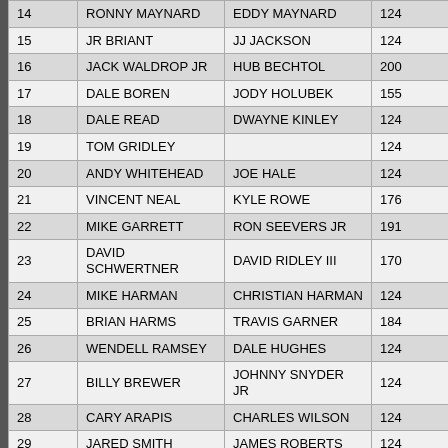| 14 | RONNY MAYNARD | EDDY MAYNARD | 124 | 80 |
| 15 | JR BRIANT | JJ JACKSON | 124 | 147 |
| 16 | JACK WALDROP JR | HUB BECHTOL | 200 | 171 |
| 17 | DALE BOREN | JODY HOLUBEK | 155 | 170 |
| 18 | DALE READ | DWAYNE KINLEY | 124 | 156 |
| 19 | TOM GRIDLEY |  | 124 | 122 |
| 20 | ANDY WHITEHEAD | JOE HALE | 124 | 139 |
| 21 | VINCENT NEAL | KYLE ROWE | 176 | 172 |
| 22 | MIKE GARRETT | RON SEEVERS JR | 191 | 135 |
| 23 | DAVID SCHWERTNER | DAVID RIDLEY III | 170 | 108 |
| 24 | MIKE HARMAN | CHRISTIAN HARMAN | 124 | 124 |
| 25 | BRIAN HARMS | TRAVIS GARNER | 184 | 161 |
| 26 | WENDELL RAMSEY | DALE HUGHES | 124 | 154 |
| 27 | BILLY BREWER | JOHNNY SNYDER JR | 124 | 80 |
| 28 | CARY ARAPIS | CHARLES WILSON | 124 | 80 |
| 29 | JARED SMITH | JAMES ROBERTS | 124 | 165 |
| 30 | PHILLIP WARREN | DERICK KHUKHENBALL | 190 | 164 |